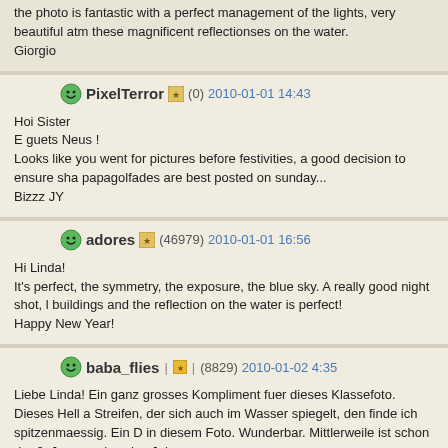the photo is fantastic with a perfect management of the lights, very beautiful atm these magnificent reflectionses on the water.
Giorgio
PixelTerror (0) 2010-01-01 14:43
Hoi Sister
E guets Neus !
Looks like you went for pictures before festivities, a good decision to ensure sha papagolfades are best posted on sunday...
Bizzz JY
adores (46979) 2010-01-01 16:56
Hi Linda!
It's perfect, the symmetry, the exposure, the blue sky. A really good night shot, l buildings and the reflection on the water is perfect!
Happy New Year!
baba_flies (8829) 2010-01-02 4:35
Liebe Linda! Ein ganz grosses Kompliment fuer dieses Klassefoto. Dieses Hell a Streifen, der sich auch im Wasser spiegelt, den finde ich spitzenmaessig. Ein D in diesem Foto. Wunderbar. Mittlerweile ist schon der 2. Januar, aber das Jah